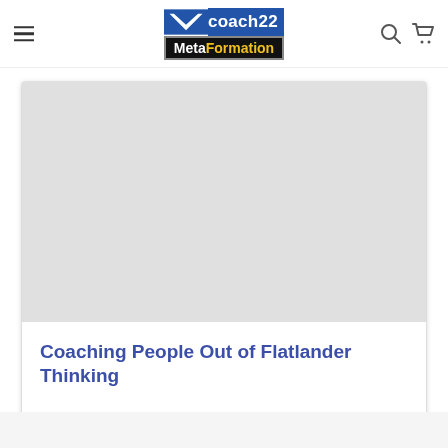coach22 MetaFormation
[Figure (photo): Gray placeholder image area within a card]
Coaching People Out of Flatlander Thinking